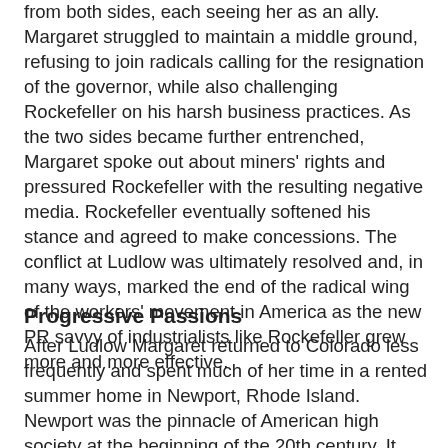from both sides, each seeing her as an ally. Margaret struggled to maintain a middle ground, refusing to join radicals calling for the resignation of the governor, while also challenging Rockefeller on his harsh business practices. As the two sides became further entrenched, Margaret spoke out about miners' rights and pressured Rockefeller with the resulting negative media. Rockefeller eventually softened his stance and agreed to make concessions. The conflict at Ludlow was ultimately resolved and, in many ways, marked the end of the radical wing of the workers' movement in America as the new PR savvy of industrialists like Rockefeller grew more and more effective.
Progressive Passions
After Ludlow Margaret returned to Colorado less frequently and spent much of her time in a rented summer home in Newport, Rhode Island. Newport was the pinnacle of American high society at the beginning of the 20th century. It was a competitive place where wealthy families displayed their fortunes by building lavish homes and hosting spectacular parties. Newport was the first American town to have a golf course, a tennis club and the regular use of cars